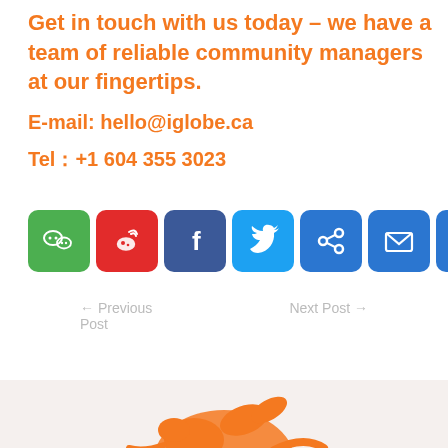Get in touch with us today – we have a team of reliable community managers at our fingertips.
E-mail: hello@iglobe.ca
Tel：+1 604 355 3023
[Figure (infographic): Row of 7 social media share icons: WeChat (green), Weibo (red), Facebook (blue), Twitter (light blue), Link/share (blue), Email (blue), More/Plus (blue)]
← Previous Post
Next Post →
[Figure (logo): Orange iglobe logo partially visible at the bottom of the page on a light beige background]